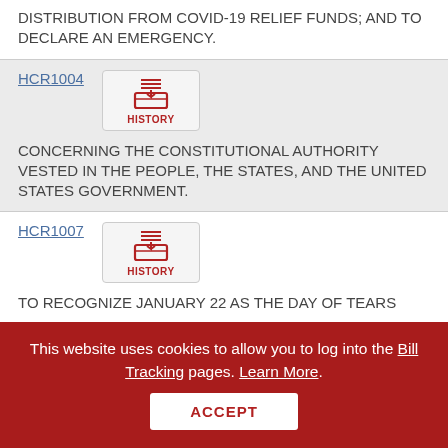DISTRIBUTION FROM COVID-19 RELIEF FUNDS; AND TO DECLARE AN EMERGENCY.
HCR1004
[Figure (other): History button icon - inbox tray with red lines and HISTORY label]
CONCERNING THE CONSTITUTIONAL AUTHORITY VESTED IN THE PEOPLE, THE STATES, AND THE UNITED STATES GOVERNMENT.
HCR1007
[Figure (other): History button icon - inbox tray with red lines and HISTORY label]
TO RECOGNIZE JANUARY 22 AS THE DAY OF TEARS
This website uses cookies to allow you to log into the Bill Tracking pages. Learn More.
ACCEPT